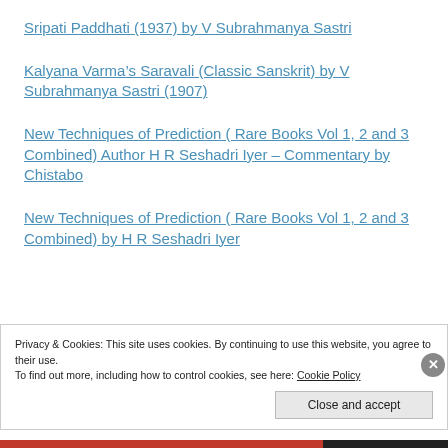Sripati Paddhati (1937) by V Subrahmanya Sastri
Kalyana Varma’s Saravali (Classic Sanskrit) by V Subrahmanya Sastri (1907)
New Techniques of Prediction ( Rare Books Vol 1, 2 and 3 Combined) Author H R Seshadri Iyer – Commentary by Chistabo
New Techniques of Prediction ( Rare Books Vol 1, 2 and 3 Combined) by H R Seshadri Iyer
Privacy & Cookies: This site uses cookies. By continuing to use this website, you agree to their use.
To find out more, including how to control cookies, see here: Cookie Policy